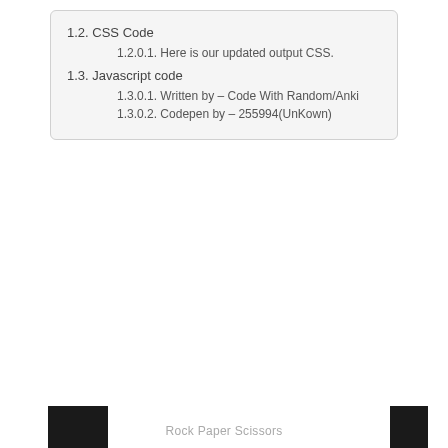1.2. CSS Code
1.2.0.1. Here is our updated output CSS.
1.3. Javascript code
1.3.0.1. Written by – Code With Random/Anki
1.3.0.2. Codepen by – 255994(UnKown)
Rock Paper Scissors